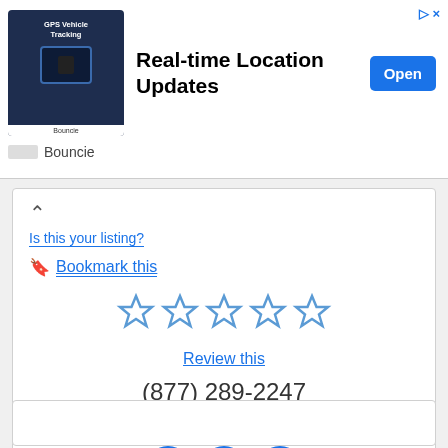[Figure (screenshot): Advertisement banner for Bouncie GPS Vehicle Tracking app with 'Real-time Location Updates' headline, Open button, and Bouncie brand logo]
Is this your listing?
Bookmark this
[Figure (other): Five empty star rating icons in blue outline]
Review this
(877) 289-2247
Visit Website
[Figure (other): Three social media icons: Facebook (f), Twitter (bird), Google (G) — all circular blue buttons]